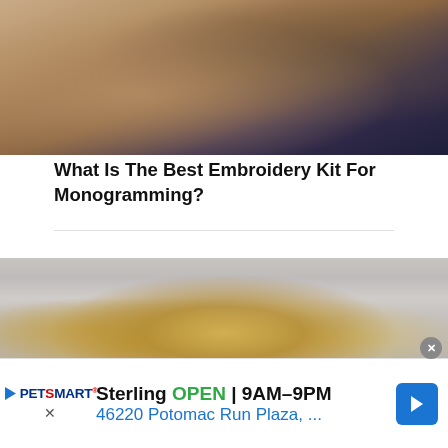[Figure (photo): Close-up photo of a tan/beige fabric with dark navy fabric visible at the top right edge]
What Is The Best Embroidery Kit For Monogramming?
[Figure (photo): Close-up photo of a gold chain or jewelry piece resting on a light gray surface or paper, with blurred background]
Sterling OPEN | 9AM–9PM 46220 Potomac Run Plaza, ...